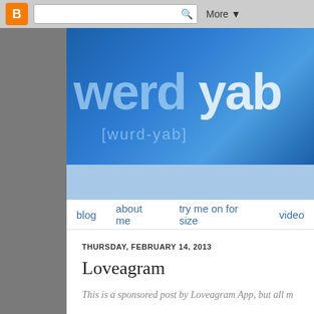[Figure (screenshot): Blogger top navigation bar with orange Blogger icon, search box with magnifying glass icon, and 'More' dropdown button]
[Figure (screenshot): Blog header banner with blue leather texture background showing 'werdyab' in large light blue bold text and '[wurd-yab]' phonetic pronunciation below]
blog   about me   try me on for size   video
THURSDAY, FEBRUARY 14, 2013
Loveagram
This is a sponsored post by Loveagram App, but all m